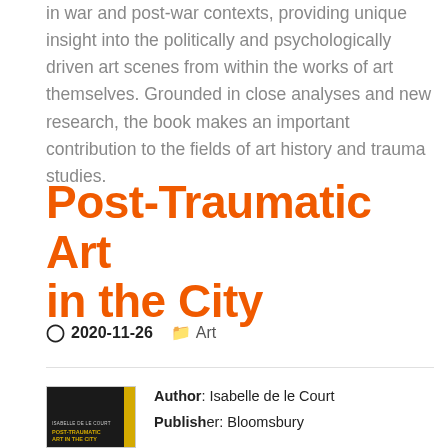in war and post-war contexts, providing unique insight into the politically and psychologically driven art scenes from within the works of art themselves. Grounded in close analyses and new research, the book makes an important contribution to the fields of art history and trauma studies.
Post-Traumatic Art in the City
2020-11-26   Art
[Figure (illustration): Book cover of 'Post-Traumatic Art in the City' by Isabelle de le Court, dark background with gold title text and a gold spine strip]
Author: Isabelle de le Court
Publisher: Bloomsbury